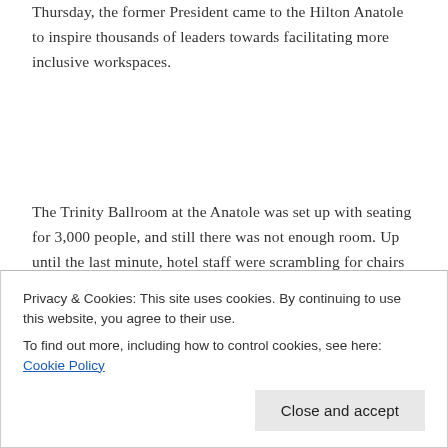Thursday, the former President came to the Hilton Anatole to inspire thousands of leaders towards facilitating more inclusive workspaces.
The Trinity Ballroom at the Anatole was set up with seating for 3,000 people, and still there was not enough room. Up until the last minute, hotel staff were scrambling for chairs for some of the highest
Privacy & Cookies: This site uses cookies. By continuing to use this website, you agree to their use.
To find out more, including how to control cookies, see here: Cookie Policy
led to a nationwide movement that sought the